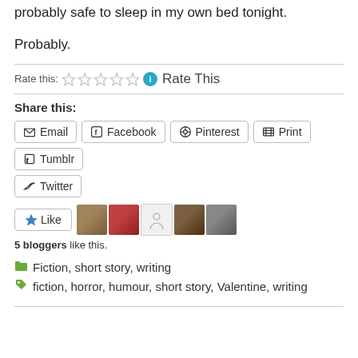probably safe to sleep in my own bed tonight.
Probably.
Rate this: ☆☆☆☆☆ ℹ Rate This
Share this:
Email | Facebook | Pinterest | Print | Tumblr | Twitter
Like | 5 bloggers like this.
Fiction, short story, writing
fiction, horror, humour, short story, Valentine, writing